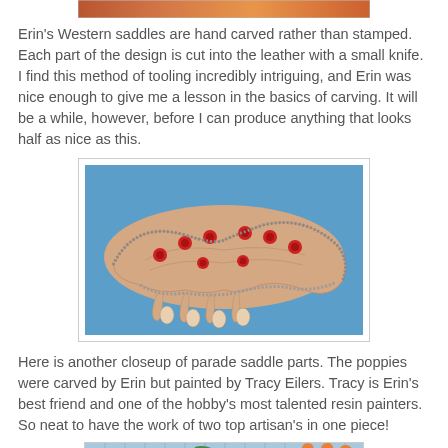[Figure (photo): Top cropped image strip showing colorful craft/saddle detail]
Erin's Western saddles are hand carved rather than stamped. Each part of the design is cut into the leather with a small knife. I find this method of tooling incredibly intriguing, and Erin was nice enough to give me a lesson in the basics of carving. It will be a while, however, before I can produce anything that looks half as nice as this.
[Figure (photo): Closeup photo of a carved and painted parade saddle part with red poppies and decorative trim on blue background]
Here is another closeup of parade saddle parts. The poppies were carved by Erin but painted by Tracy Eilers. Tracy is Erin's best friend and one of the hobby's most talented resin painters. So neat to have the work of two top artisan's in one piece!
[Figure (photo): Bottom partial image showing miniature craft pieces on a blue gridded surface]